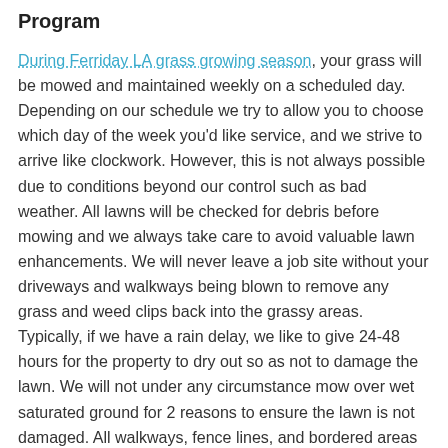Program
During Ferriday LA grass growing season, your grass will be mowed and maintained weekly on a scheduled day. Depending on our schedule we try to allow you to choose which day of the week you'd like service, and we strive to arrive like clockwork. However, this is not always possible due to conditions beyond our control such as bad weather. All lawns will be checked for debris before mowing and we always take care to avoid valuable lawn enhancements. We will never leave a job site without your driveways and walkways being blown to remove any grass and weed clips back into the grassy areas. Typically, if we have a rain delay, we like to give 24-48 hours for the property to dry out so as not to damage the lawn. We will not under any circumstance mow over wet saturated ground for 2 reasons to ensure the lawn is not damaged. All walkways, fence lines, and bordered areas